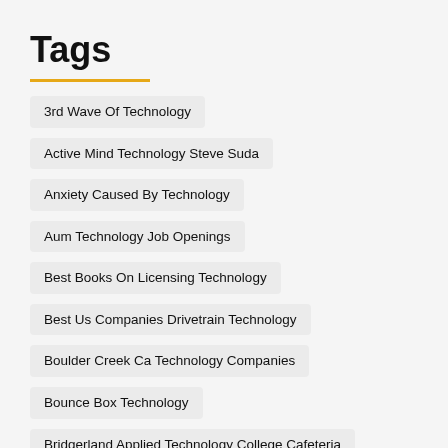Tags
3rd Wave Of Technology
Active Mind Technology Steve Suda
Anxiety Caused By Technology
Aum Technology Job Openings
Best Books On Licensing Technology
Best Us Companies Drivetrain Technology
Boulder Creek Ca Technology Companies
Bounce Box Technology
Bridgerland Applied Technology College Cafeteria